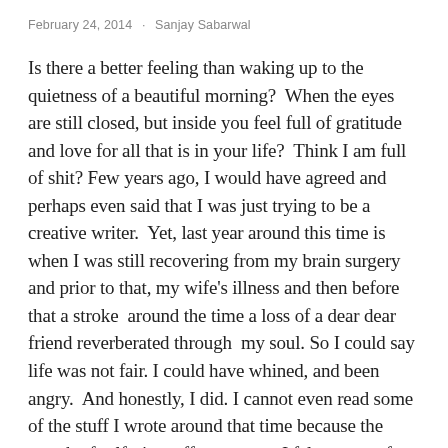February 24, 2014   Sanjay Sabarwal
Is there a better feeling than waking up to the quietness of a beautiful morning?  When the eyes are still closed, but inside you feel full of gratitude and love for all that is in your life?  Think I am full of shit? Few years ago, I would have agreed and perhaps even said that I was just trying to be a creative writer.  Yet, last year around this time is when I was still recovering from my brain surgery and prior to that, my wife's illness and then before that a stroke  around the time a loss of a dear dear friend reverberated through  my soul. So I could say life was not fair. I could have whined, and been angry.  And honestly, I did. I cannot even read some of the stuff I wrote around that time because the stench of self-pity suffocates me.  I felt so sorry for myself that I engaged in soul deadening behaviors like avoidance, and pretending all was well. I stopped reading, writing or really doing anything that gave me true joy. I fought with people in my life with such a